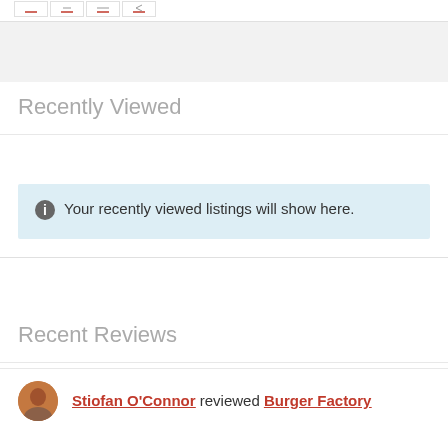[Figure (screenshot): Top navigation icon buttons with red underline icons in a bordered group]
Recently Viewed
Your recently viewed listings will show here.
Recent Reviews
Stiofan O'Connor reviewed Burger Factory